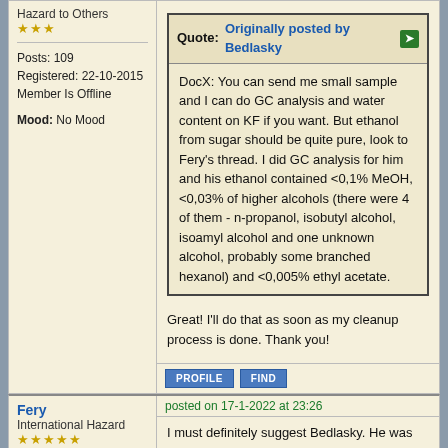Hazard to Others
★★★
Posts: 109
Registered: 22-10-2015
Member Is Offline
Mood: No Mood
Quote: Originally posted by Bedlasky
DocX: You can send me small sample and I can do GC analysis and water content on KF if you want. But ethanol from sugar should be quite pure, look to Fery's thread. I did GC analysis for him and his ethanol contained <0,1% MeOH, <0,03% of higher alcohols (there were 4 of them - n-propanol, isobutyl alcohol, isoamyl alcohol and one unknown alcohol, probably some branched hexanol) and <0,005% ethyl acetate.
Great! I'll do that as soon as my cleanup process is done. Thank you!
PROFILE  FIND
Fery
International Hazard
★★★★★
posted on 17-1-2022 at 23:26
I must definitely suggest Bedlasky. He was very helpful in